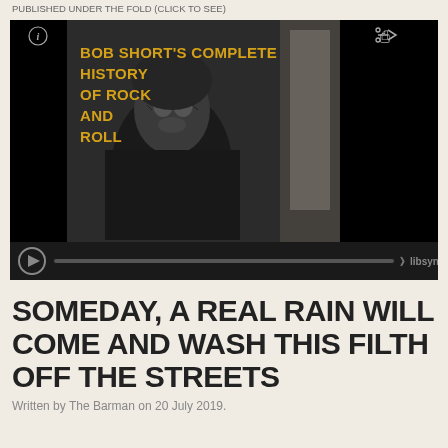PUBLISHED UNDER THE FOLD (CLICK TO SEE)
[Figure (screenshot): Podcast media player embed showing 'Bob Short's Complete History of Rock and Roll' album art — a black and white image of a masked figure — with playback controls and libsyn branding.]
SOMEDAY, A REAL RAIN WILL COME AND WASH THIS FILTH OFF THE STREETS
Written by The Barman on 20 July 2019.